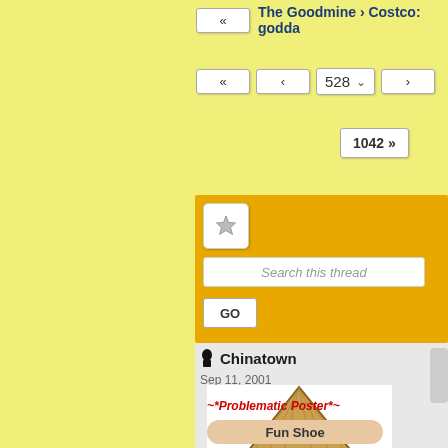[Figure (screenshot): Forum navigation screenshot showing breadcrumb 'The Goodmine › Costco: godda...', pagination controls with buttons «, ‹, 528 dropdown, ›, and 1042 », an orange search panel with star button, 'Search this thread' input, GO button, and a post by user 'Chinatown' dated Sep 11, 2001 with an avatar of a cartoon character wearing a conical Asian hat, labeled '~*Problematic Poster*~' in red and a 'Fun Shoe' badge]
The Goodmine › Costco: godda...
528
1042 »
Search this thread
GO
Chinatown
Sep 11, 2001
~*Problematic Poster*~
Fun Shoe